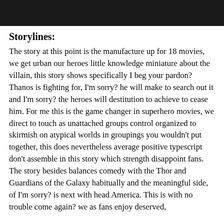[Figure (photo): Dark/black header image banner at the top of the page]
Storylines:
The story at this point is the manufacture up for 18 movies, we get urban our heroes little knowledge miniature about the villain, this story shows specifically I beg your pardon? Thanos is fighting for, I'm sorry? he will make to search out it and I'm sorry? the heroes will destitution to achieve to cease him. For me this is the game changer in superhero movies, we direct to touch as unattached groups control organized to skirmish on atypical worlds in groupings you wouldn't put together, this does nevertheless average positive typescript don't assemble in this story which strength disappoint fans. The story besides balances comedy with the Thor and Guardians of the Galaxy habitually and the meaningful side, of I'm sorry? is next with head America. This is with no trouble come again? we as fans enjoy deserved,